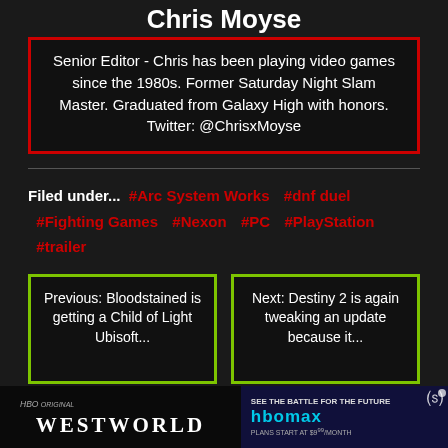Chris Moyse
Senior Editor - Chris has been playing video games since the 1980s. Former Saturday Night Slam Master. Graduated from Galaxy High with honors. Twitter: @ChrisxMoyse
Filed under... #Arc System Works #dnf duel #Fighting Games #Nexon #PC #PlayStation #trailer
Previous: Bloodstained is getting a Child of Light Ubisoft...
Next: Destiny 2 is again tweaking an update because it...
[Figure (advertisement): Westworld HBO ad with HBOmax Sign Up Now button]